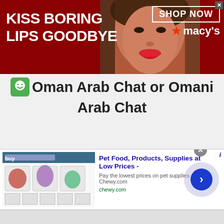[Figure (screenshot): Macy's advertisement banner: red background with text 'KISS BORING LIPS GOODBYE', woman's face with red lips, 'SHOP NOW' button, and Macy's star logo]
Oman Arab Chat or Omani Arab Chat
[Figure (screenshot): Chewy.com advertisement: 'Pet Food, Products, Supplies at Low Prices - Pay the lowest prices on pet supplies at Chewy.com' with product thumbnails and navigation arrow]